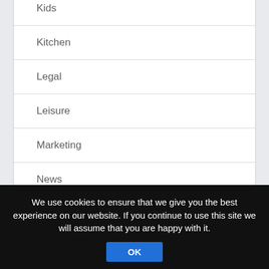Kids
Kitchen
Legal
Leisure
Marketing
News
Pets
We use cookies to ensure that we give you the best experience on our website. If you continue to use this site we will assume that you are happy with it.
OK